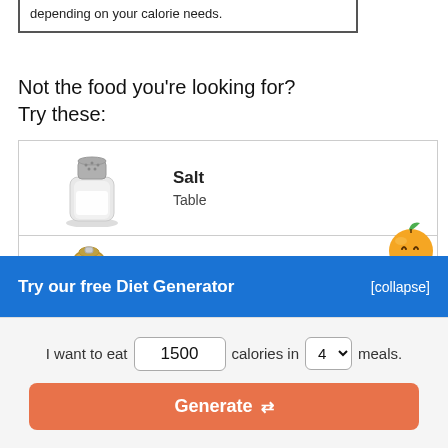depending on your calorie needs.
Not the food you're looking for?
Try these:
| Image | Name | Type |
| --- | --- | --- |
| [salt shaker image] | Salt | Table |
| [pepper grinder image] | Pepper | Spices, black |
| [partial image] |  |  |
Try our free Diet Generator
[collapse]
I want to eat 1500 calories in 4 meals.
Generate